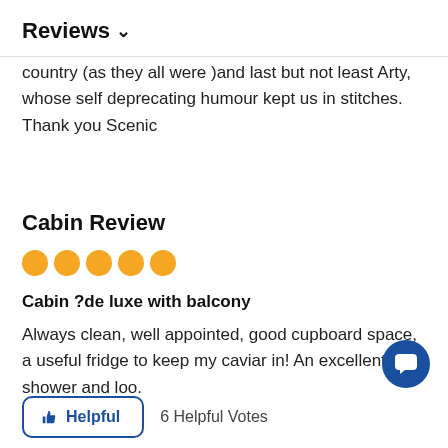Reviews ∨
country (as they all were )and last but not least Arty, whose self deprecating humour kept us in stitches. Thank you Scenic
Cabin Review
[Figure (other): 5 filled orange/yellow circles representing a 5-star rating]
Cabin ?de luxe with balcony
Always clean, well appointed, good cupboard space, a useful fridge to keep my caviar in! An excellent shower and loo.
Helpful   6 Helpful Votes